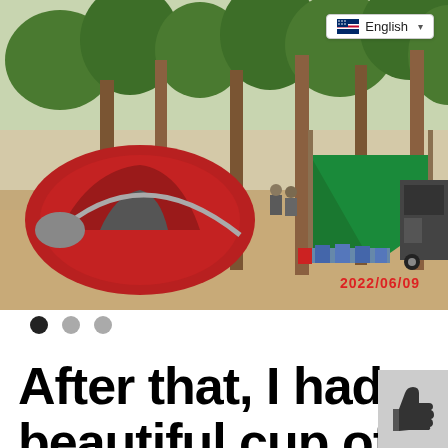[Figure (photo): Outdoor camping scene with a red dome tent on the left, pine trees in the background, and a blue-green tarp shelter on the right with camping supplies and a vehicle partially visible. Date stamp 2022/06/09 in red in the lower right of the photo.]
English
● ● ●
After that, I had a beautiful cup of sock